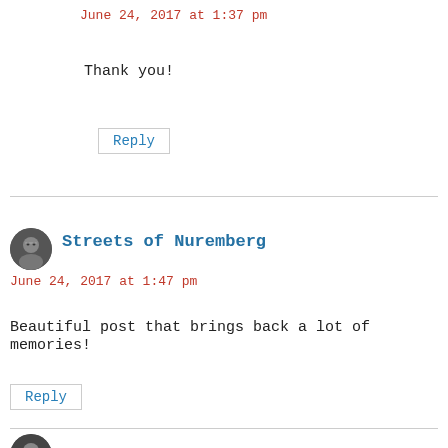June 24, 2017 at 1:37 pm
Thank you!
Reply
[Figure (illustration): Circular avatar photo of a person with glasses]
Streets of Nuremberg
June 24, 2017 at 1:47 pm
Beautiful post that brings back a lot of memories!
Reply
[Figure (illustration): Circular avatar photo of a person, partially visible at bottom]